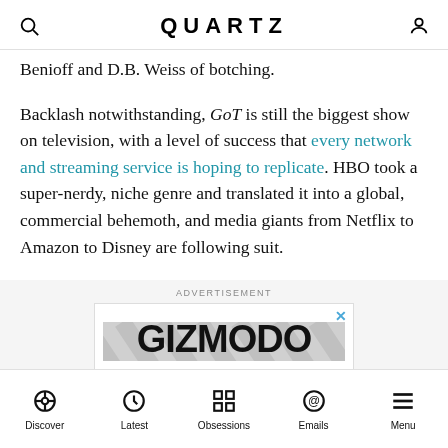QUARTZ
Benioff and D.B. Weiss of botching.
Backlash notwithstanding, GoT is still the biggest show on television, with a level of success that every network and streaming service is hoping to replicate. HBO took a super-nerdy, niche genre and translated it into a global, commercial behemoth, and media giants from Netflix to Amazon to Disney are following suit.
ADVERTISEMENT
[Figure (logo): Gizmodo advertisement banner with diagonal stripe pattern background and bold GIZMODO logotype]
Discover  Latest  Obsessions  Emails  Menu